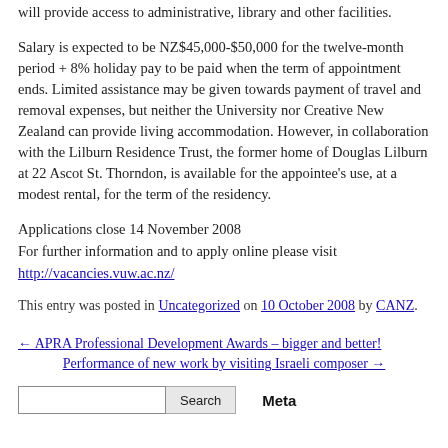will provide access to administrative, library and other facilities.
Salary is expected to be NZ$45,000-$50,000 for the twelve-month period + 8% holiday pay to be paid when the term of appointment ends. Limited assistance may be given towards payment of travel and removal expenses, but neither the University nor Creative New Zealand can provide living accommodation. However, in collaboration with the Lilburn Residence Trust, the former home of Douglas Lilburn at 22 Ascot St. Thorndon, is available for the appointee's use, at a modest rental, for the term of the residency.
Applications close 14 November 2008
For further information and to apply online please visit
http://vacancies.vuw.ac.nz/
This entry was posted in Uncategorized on 10 October 2008 by CANZ.
← APRA Professional Development Awards – bigger and better!
Performance of new work by visiting Israeli composer →